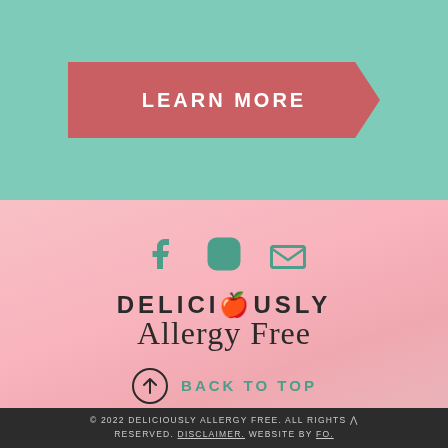[Figure (infographic): Teal/mint green background section with a salmon-red ribbon/banner button labeled LEARN MORE in white bold uppercase letters]
[Figure (infographic): Pink watercolor background section with social media icons (Facebook, Instagram, email), the Deliciously Allergy Free logo, and a BACK TO TOP button with upward arrow circle]
© 2022 DELICIOUSLY ALLERGY FREE. ALL RIGHTS RESERVED. DISCLAIMER. WEBSITE BY FO.